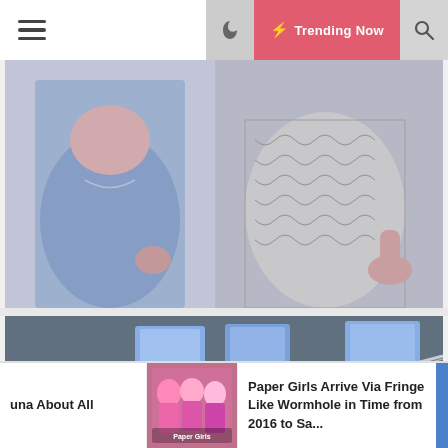☰  🌙  ⚡ Trending Now  🔍
[Figure (photo): Partial view of two people in fashion outfits — one in blue dress, one in black-and-white patterned outfit, cropped at torso level]
[Figure (photo): Film/TV production set scene with boom microphone, monitors, crew members working with equipment in a dark studio environment]
una About All
[Figure (photo): Thumbnail image for Paper Girls article showing colorful characters]
Paper Girls Arrive Via Fringe Like Wormhole in Time from 2016 to Sa...